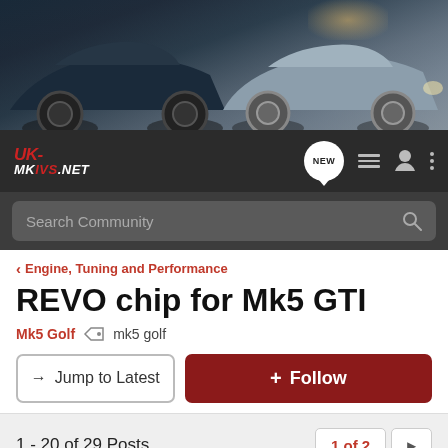[Figure (photo): Banner photo of two Volkswagen Golf/GTI cars parked in a garage or driveway, one dark blue and one silver, viewed from the front at an angle.]
UK-MKVS.NET navigation bar with logo, NEW badge, list icon, user icon, and more options icon
Search Community
< Engine, Tuning and Performance
REVO chip for Mk5 GTI
Mk5 Golf   mk5 golf
→  Jump to Latest
+ Follow
1 - 20 of 29 Posts
1 of 2  ▶